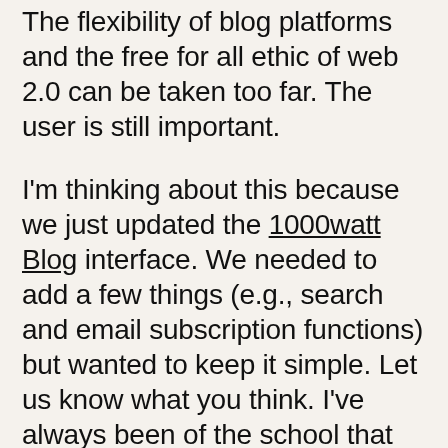The flexibility of blog platforms and the free for all ethic of web 2.0 can be taken too far. The user is still important.
I'm thinking about this because we just updated the 1000watt Blog interface. We needed to add a few things (e.g., search and email subscription functions) but wanted to keep it simple. Let us know what you think. I've always been of the school that less is more on a website. The point of diminishing returns on features, copy and navigation is reached very quickly. I also